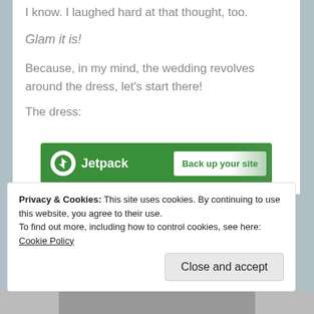I know. I laughed hard at that thought, too.
Glam it is!
Because, in my mind, the wedding revolves around the dress, let's start there!
The dress:
[Figure (other): Jetpack ad banner: green background with Jetpack logo and 'Back up your site' button]
Privacy & Cookies: This site uses cookies. By continuing to use this website, you agree to their use.
To find out more, including how to control cookies, see here: Cookie Policy
Close and accept
[Figure (photo): Photo strip at bottom of page]